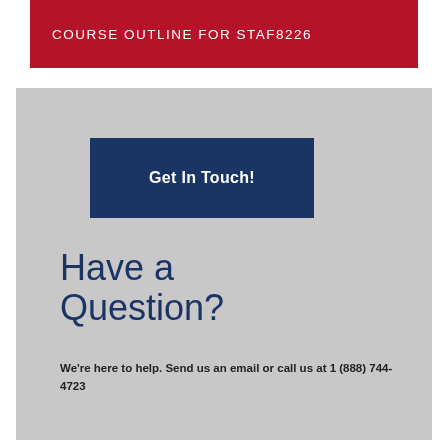COURSE OUTLINE FOR STAF8226
[Figure (infographic): Gray background section containing a dark navy 'Get In Touch!' button, large heading 'Have a Question?' in navy blue, and contact text below.]
Get In Touch!
Have a Question?
We're here to help. Send us an email or call us at 1 (888) 744-4723